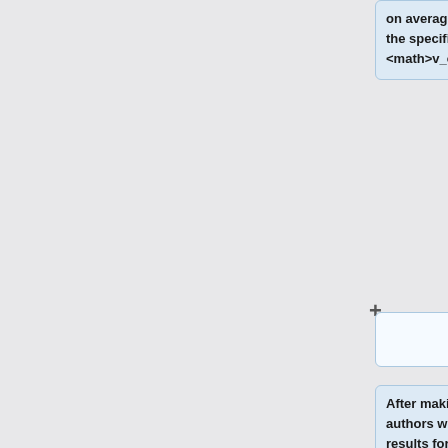on average, the particles traveled at the specified speed <math>v_o</math>.
After making this change, the authors were able to obtain physical results for perturbations through the material. They found the perturbation fronts displayed "smooth, Gaussian-like